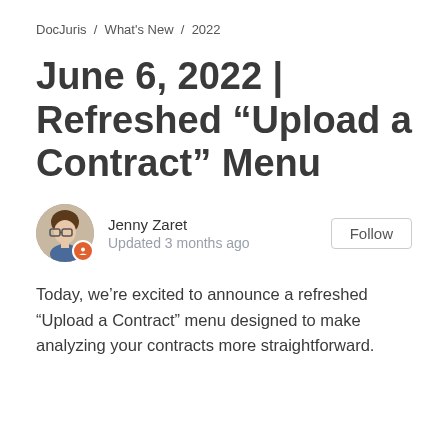DocJuris / What's New / 2022
June 6, 2022 | Refreshed “Upload a Contract” Menu
Jenny Zaret
Updated 3 months ago
Today, we’re excited to announce a refreshed “Upload a Contract” menu designed to make analyzing your contracts more straightforward.